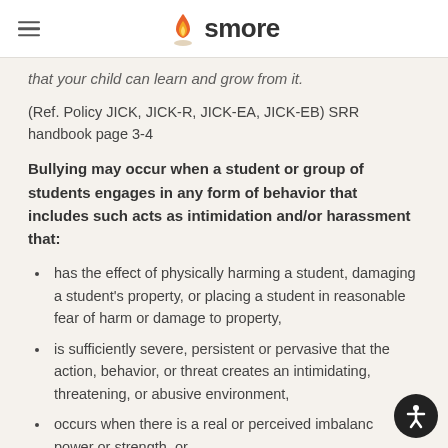smore
that your child can learn and grow from it.
(Ref. Policy JICK, JICK-R, JICK-EA, JICK-EB) SRR handbook page 3-4
Bullying may occur when a student or group of students engages in any form of behavior that includes such acts as intimidation and/or harassment that:
has the effect of physically harming a student, damaging a student's property, or placing a student in reasonable fear of harm or damage to property,
is sufficiently severe, persistent or pervasive that the action, behavior, or threat creates an intimidating, threatening, or abusive environment,
occurs when there is a real or perceived imbalance of power or strength, or